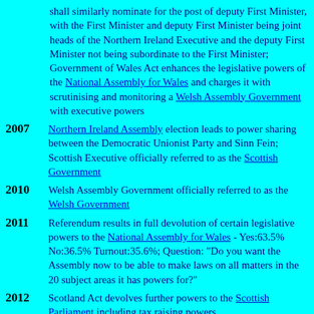shall similarly nominate for the post of deputy First Minister, with the First Minister and deputy First Minister being joint heads of the Northern Ireland Executive and the deputy First Minister not being subordinate to the First Minister; Government of Wales Act enhances the legislative powers of the National Assembly for Wales and charges it with scrutinising and monitoring a Welsh Assembly Government with executive powers
2007 Northern Ireland Assembly election leads to power sharing between the Democratic Unionist Party and Sinn Fein; Scottish Executive officially referred to as the Scottish Government
2010 Welsh Assembly Government officially referred to as the Welsh Government
2011 Referendum results in full devolution of certain legislative powers to the National Assembly for Wales - Yes:63.5% No:36.5% Turnout:35.6%; Question: "Do you want the Assembly now to be able to make laws on all matters in the 20 subject areas it has powers for?"
2012 Scotland Act devolves further powers to the Scottish Parliament including tax raising powers
2014 Cornish granted minority status under European Union